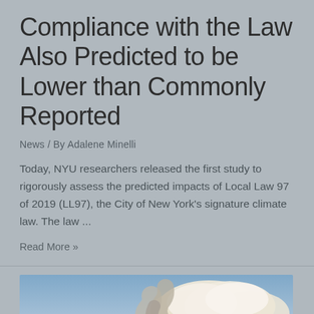Compliance with the Law Also Predicted to be Lower than Commonly Reported
News / By Adalene Minelli
Today, NYU researchers released the first study to rigorously assess the predicted impacts of Local Law 97 of 2019 (LL97), the City of New York's signature climate law. The law ...
Read More »
[Figure (photo): Photo of industrial smoke or clouds rising against a blue sky, with dramatic cumulus clouds visible]